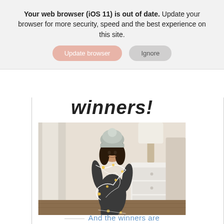Your web browser (iOS 11) is out of date. Update your browser for more security, speed and the best experience on this site.
Update browser | Ignore
winners!
[Figure (photo): A smiling woman with long dark hair wearing a grey knit beanie hat and dark outfit, holding and wrapped in string Christmas lights. She stands in a bright bedroom with a white dresser and lamp in the background.]
And the winners are